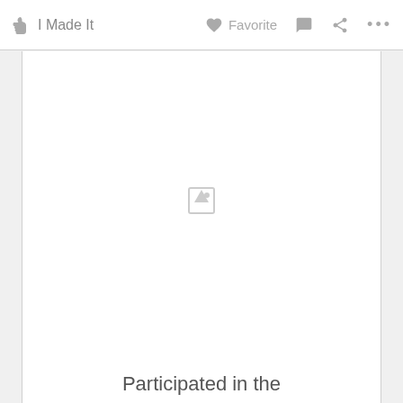I Made It   Favorite   ...
[Figure (photo): White content area with a faint loading image icon in the center, inside a bordered panel]
Participated in the